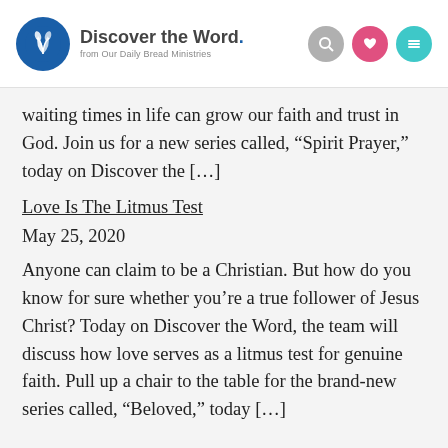Discover the Word. from Our Daily Bread Ministries
waiting times in life can grow our faith and trust in God. Join us for a new series called, “Spirit Prayer,” today on Discover the […]
Love Is The Litmus Test
May 25, 2020
Anyone can claim to be a Christian. But how do you know for sure whether you’re a true follower of Jesus Christ? Today on Discover the Word, the team will discuss how love serves as a litmus test for genuine faith. Pull up a chair to the table for the brand-new series called, “Beloved,” today […]